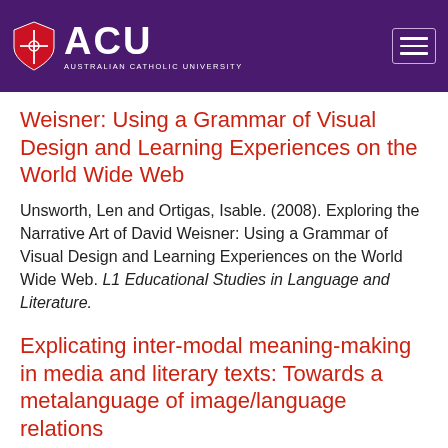[Figure (logo): ACU Australian Catholic University logo with shield, white text on dark purple header background, with hamburger menu icon top right]
Weisner: Using a Grammar of Visual Design and Learning Experiences on the World Wide Web
Unsworth, Len and Ortigas, Isable. (2008). Exploring the Narrative Art of David Weisner: Using a Grammar of Visual Design and Learning Experiences on the World Wide Web. L1 Educational Studies in Language and Literature.
Explicating inter-modal meaning-making in media and literary texts: Towards a metalanguage of image/language relations
Unsworth, Len. (2008). Explicating inter-modal meaning-making in media and literary texts: Towards a